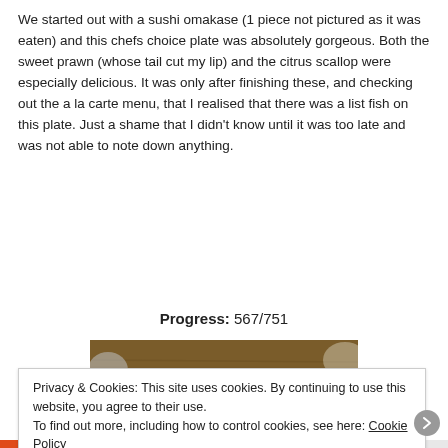We started out with a sushi omakase (1 piece not pictured as it was eaten) and this chefs choice plate was absolutely gorgeous. Both the sweet prawn (whose tail cut my lip) and the citrus scallop were especially delicious. It was only after finishing these, and checking out the a la carte menu, that I realised that there was a list fish on this plate. Just a shame that I didn’t know until it was too late and was not able to note down anything.
Progress: 567/751
[Figure (photo): Photo of chopsticks resting on a chopstick holder on a wooden table, with dishes visible in the background]
Privacy & Cookies: This site uses cookies. By continuing to use this website, you agree to their use.
To find out more, including how to control cookies, see here: Cookie Policy
Close and accept